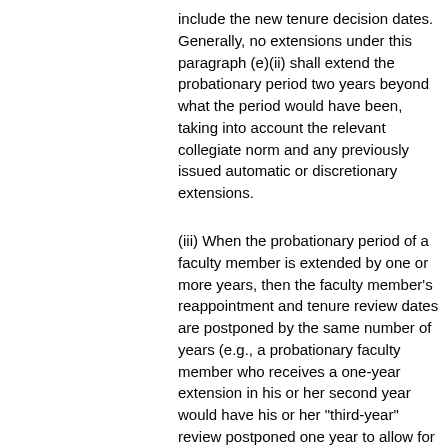include the new tenure decision dates. Generally, no extensions under this paragraph (e)(ii) shall extend the probationary period two years beyond what the period would have been, taking into account the relevant collegiate norm and any previously issued automatic or discretionary extensions.
(iii) When the probationary period of a faculty member is extended by one or more years, then the faculty member's reappointment and tenure review dates are postponed by the same number of years (e.g., a probationary faculty member who receives a one-year extension in his or her second year would have his or her "third-year" review postponed one year to allow for a full three years of preparation; his or her tenure decision date would also be postponed by one year). Tenure expectations remain the